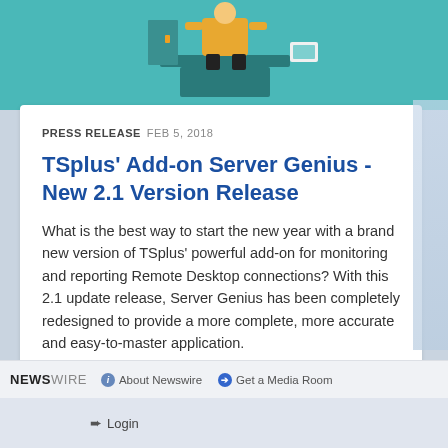[Figure (illustration): Teal illustrated banner showing a person at a podium/desk, decorative header image]
PRESS RELEASE   FEB 5, 2018
TSplus' Add-on Server Genius - New 2.1 Version Release
What is the best way to start the new year with a brand new version of TSplus' powerful add-on for monitoring and reporting Remote Desktop connections? With this 2.1 update release, Server Genius has been completely redesigned to provide a more complete, more accurate and easy-to-master application.
NEWSWIRE   About Newswire   Get a Media Room   Login